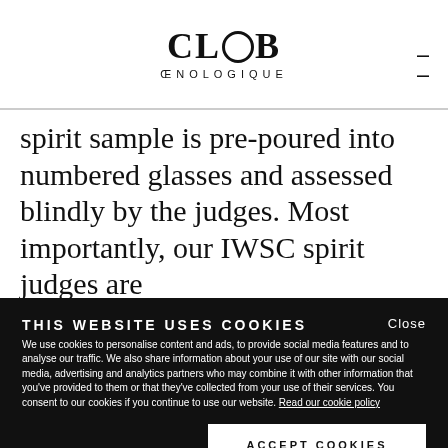CLUB ENOLOGIQUE
spirit sample is pre-poured into numbered glasses and assessed blindly by the judges. Most importantly, our IWSC spirit judges are
THIS WEBSITE USES COOKIES
We use cookies to personalise content and ads, to provide social media features and to analyse our traffic. We also share information about your use of our site with our social media, advertising and analytics partners who may combine it with other information that you've provided to them or that they've collected from your use of their services. You consent to our cookies if you continue to use our website. Read our cookie policy
ACCEPT COOKIES
Necessary
Preferences
Statistics
Marketing
Show details